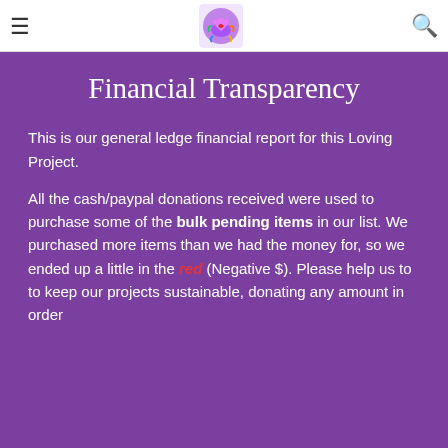☰ [logo] 🔍
Financial Transparency
This is our general ledge financial report for this Loving Project.
All the cash/paypal donations received were used to purchase some of the bulk pending items in our list. We purchased more items than we had the money for, so we ended up a little in the red (Negative $). Please help us to to keep our projects sustainable, donating any amount in order